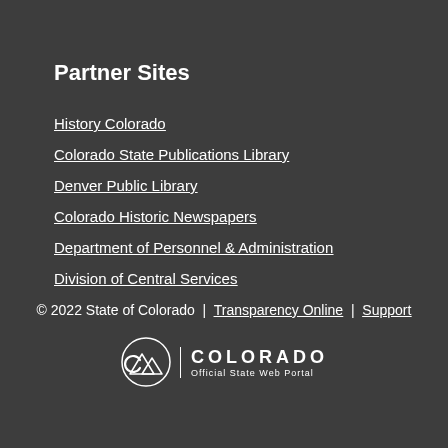Partner Sites
History Colorado
Colorado State Publications Library
Denver Public Library
Colorado Historic Newspapers
Department of Personnel & Administration
Division of Central Services
© 2022 State of Colorado | Transparency Online | Support
[Figure (logo): Colorado Official State Web Portal logo with mountain/C icon and text COLORADO Official State Web Portal]